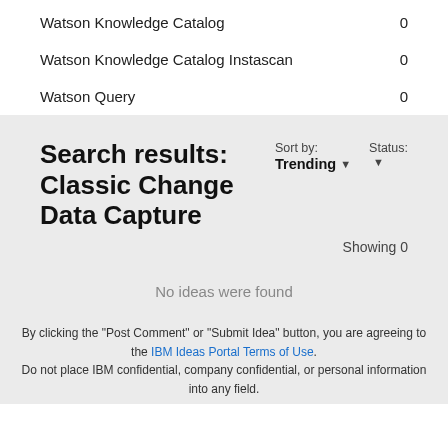Watson Knowledge Catalog   0
Watson Knowledge Catalog Instascan   0
Watson Query   0
Search results: Classic Change Data Capture
Sort by: Trending ▾   Status: ▾
Showing 0
No ideas were found
By clicking the "Post Comment" or "Submit Idea" button, you are agreeing to the IBM Ideas Portal Terms of Use. Do not place IBM confidential, company confidential, or personal information into any field.